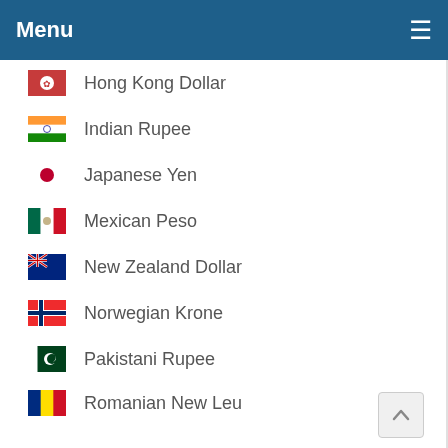Menu
Hong Kong Dollar
Indian Rupee
Japanese Yen
Mexican Peso
New Zealand Dollar
Norwegian Krone
Pakistani Rupee
Romanian New Leu